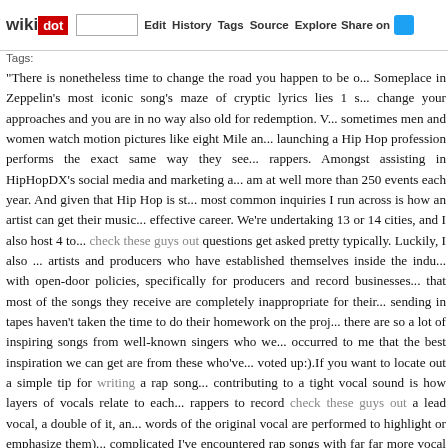wikidot | site | Edit | History | Tags | Source | Explore | Share on [Twitter]
Tags:
"There is nonetheless time to change the road you happen to be o... Someplace in Zeppelin's most iconic song's maze of cryptic lyrics lies 1 s... change your approaches and you are in no way also old for redemption. V... sometimes men and women watch motion pictures like eight Mile an... launching a Hip Hop profession performs the exact same way they see... rappers. Amongst assisting in HipHopDX's social media and marketing a... am at well more than 250 events each year. And given that Hip Hop is st... most common inquiries I run across is how an artist can get their music... effective career. We're undertaking 13 or 14 cities, and I also host 4 to... check these guys out questions get asked pretty typically. Luckily, I also ... artists and producers who have established themselves inside the indu... with open-door policies, specifically for producers and record businesses... that most of the songs they receive are completely inappropriate for their... sending in tapes haven't taken the time to do their homework on the proj... there are so a lot of inspiring songs from well-known singers who we... occurred to me that the best inspiration we can get are from these who've... voted up:).If you want to locate out a simple tip for writing a rap song... contributing to a tight vocal sound is how layers of vocals relate to each... rappers to record check these guys out a lead vocal, a double of it, an... words of the original vocal are performed to highlight or emphasize them)... complicated I've encountered rap songs with far far more vocal tracks tha... so, if you are serious about it, you will have almost certainly written the... the shock and delight on your Chihuahua's face when you sing it! At this... "The Craft Of Lyric Writing", so take some time to look at your lyrics ... learned in the book, and you could be in a position to figure out some of ... and re-reading this book from time to time, songwriting fundamentals will... and you will be able to recognize strengths and flaws in your songwriting